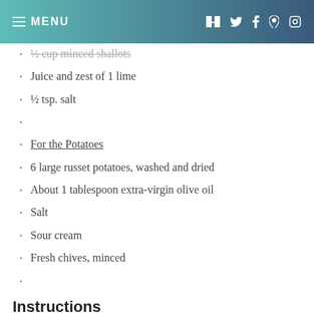MENU
½ cup minced shallots (strikethrough/partial visible)
Juice and zest of 1 lime
½ tsp. salt
For the Potatoes
6 large russet potatoes, washed and dried
About 1 tablespoon extra-virgin olive oil
Salt
Sour cream
Fresh chives, minced
Instructions
Make the shredded barbecue beef. Place the beef roast in your slow cooker and set aside. In a large non-stick skillet, heat the vegetable oil over